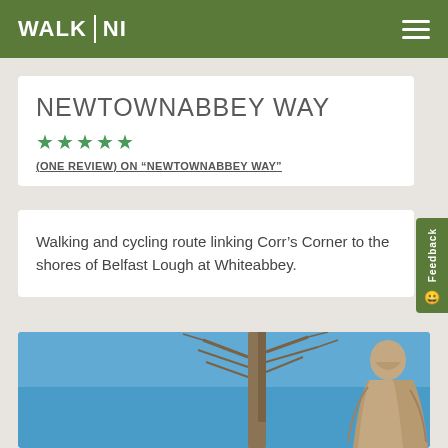WALK NI
NEWTOWNABBEY WAY
(ONE REVIEW) ON "NEWTOWNABBEY WAY"
Walking and cycling route linking Corr's Corner to the shores of Belfast Lough at Whiteabbey.
[Figure (photo): Outdoor photo showing a stone statue of a figure against a bright blue sky with bare trees in the background]